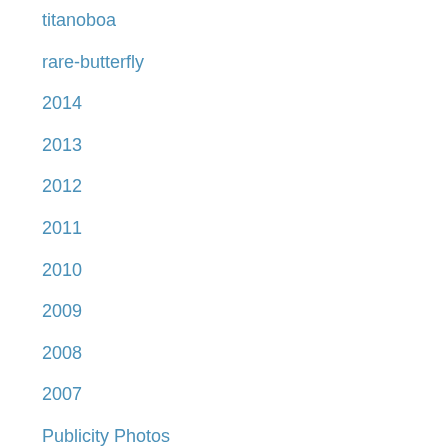titanoboa
rare-butterfly
2014
2013
2012
2011
2010
2009
2008
2007
Publicity Photos
Press Kits
Photography, Video & Film
Science Experts